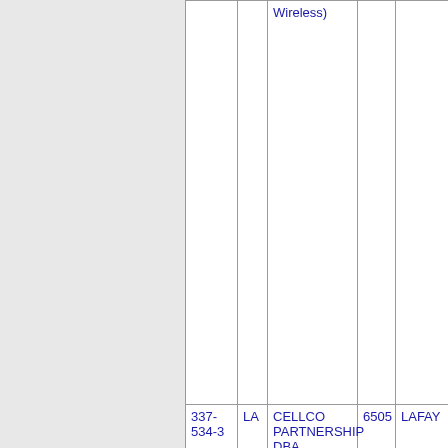|  |  | Wireless) |  |  |
| 337-534-3 | LA | CELLCO PARTNERSHIP DBA VERIZON (Verizon Wireless) | 6505 | LAFAY |
| 337-534- | LA | CELLCO PARTNERSHIP | 6505 | LAFAY |